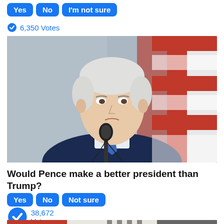Yes  No  I'm not sure
6,350 Votes
[Figure (photo): Man in dark navy suit with blue striped tie speaking at a microphone, with a red and white background (likely a flag), white/grey hair, older male politician]
Would Pence make a better president than Trump?
Yes  No  Not sure
38,672 Votes
[Figure (photo): Partial photo visible at bottom of page, appears to show a crowd or event scene]